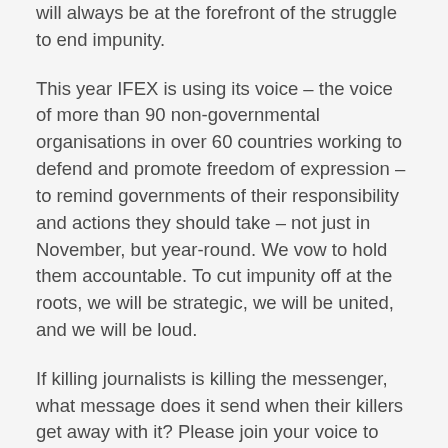will always be at the forefront of the struggle to end impunity.
This year IFEX is using its voice – the voice of more than 90 non-governmental organisations in over 60 countries working to defend and promote freedom of expression – to remind governments of their responsibility and actions they should take – not just in November, but year-round. We vow to hold them accountable. To cut impunity off at the roots, we will be strategic, we will be united, and we will be loud.
If killing journalists is killing the messenger, what message does it send when their killers get away with it? Please join your voice to ours this year, and send out a new message. Demand that your governments do their part to end impunity.
For more information